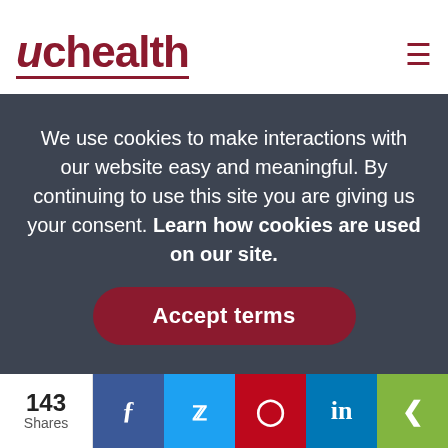uchealth
Victoria Gail no is in the study that is testing whether her maintenance therapy for ovarian cancer can also prevent recurrence in people with uterine cancer.
“We want to make sure our patients get their basic treatment, but also a bonus. They can get some rare and sometimes very expensive drugs. The one that Victoria is on costs $8,000 a month, but she gets it for free,” Guntupalli said.
“We’re one of only three such practices the U.S. doing
We use cookies to make interactions with our website easy and meaningful. By continuing to use this site you are giving us your consent. Learn how cookies are used on our site.
Accept terms
143 Shares